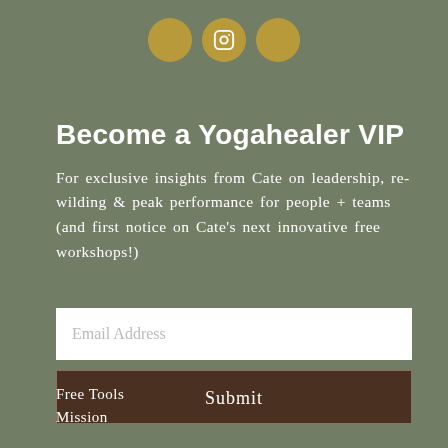[Figure (illustration): Three circular gold social media icons (Facebook, Instagram, YouTube) centered at top of page]
Become a Yogahealer VIP
For exclusive insights from Cate on leadership, re-wilding & peak performance for people + teams (and first notice on Cate's next innovative free workshops!)
Email Address
Submit
Free Tools
Mission